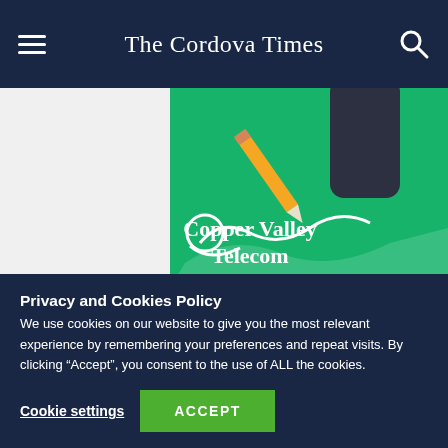The Cordova Times
[Figure (illustration): Copper Valley Telecom advertisement banner with green background, pencil, phone, and Copper Valley Telecom logo/text in white]
Privacy and Cookies Policy
We use cookies on our website to give you the most relevant experience by remembering your preferences and repeat visits. By clicking “Accept”, you consent to the use of ALL the cookies.
Cookie settings   ACCEPT